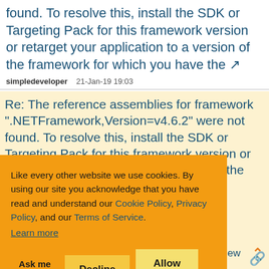found. To resolve this, install the SDK or Targeting Pack for this framework version or retarget your application to a version of the framework for which you have the
simpledeveloper    21-Jan-19 19:03
Re: The reference assemblies for framework ".NETFramework,Version=v4.6.2" were not found. To resolve this, install the SDK or Targeting Pack for this framework version or retarget your application to a version of the framework for which you have the
Like every other website we use cookies. By using our site you acknowledge that you have read and understand our Cookie Policy, Privacy Policy, and our Terms of Service. Learn more
Ask me later   Decline   Allow cookies
under review ?